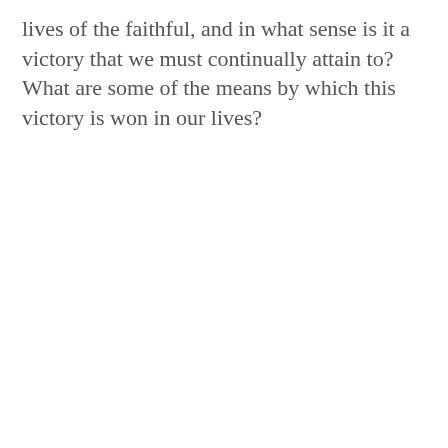lives of the faithful, and in what sense is it a victory that we must continually attain to? What are some of the means by which this victory is won in our lives?
[Figure (infographic): Newsletter signup banner for The Living Church with dark navy background, dashed border, bold white text 'Get the weekly newsletter from The Living Church' with italic styling on publication name, blue chevron arrows below, and Agnus Dei stained-glass logo above text reading 'Articles from Covenant and award-winning reporting on the Anglican']
Articles from Covenant and award-winning reporting on the Anglican